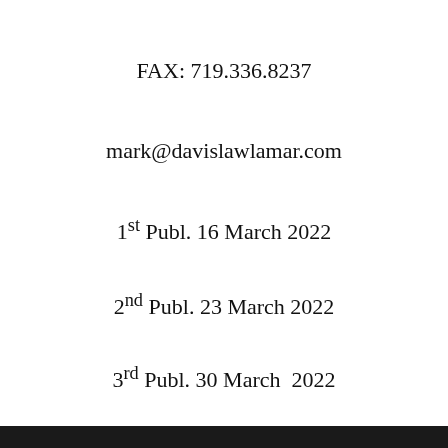FAX: 719.336.8237
mark@davislawlamar.com
1st Publ. 16 March 2022
2nd Publ. 23 March 2022
3rd Publ. 30 March  2022